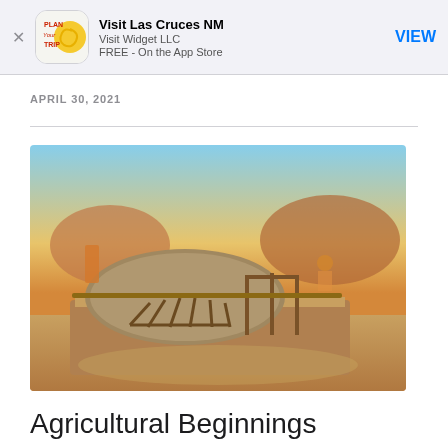[Figure (screenshot): App Store smart banner for 'Visit Las Cruces NM' by Visit Widget LLC, FREE on the App Store, with a Plan Your Trip logo icon and a VIEW button]
APRIL 30, 2021
[Figure (photo): Museum exhibit showing a scale model of a pit house dwelling with wooden pole framework and earthen roof, displayed on a raised platform with an illustrated mural backdrop depicting a Native American desert village scene]
Agricultural Beginnings